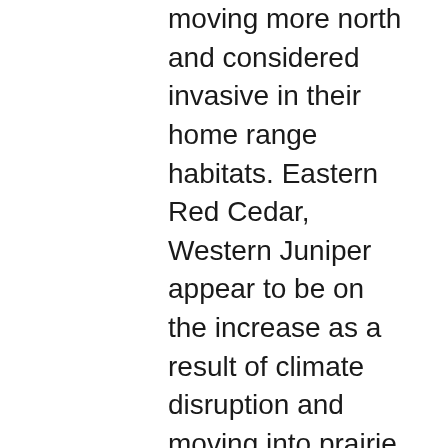moving more north and considered invasive in their home range habitats. Eastern Red Cedar, Western Juniper appear to be on the increase as a result of climate disruption and moving into prairie areas. Now if Redwood, Ponderosa Pine or Douglas Fir were to respond in a similar way by moving into grasslands, the invasiveness would hardly be alarming, but rather something to celebrate. I've never understood why some bio-mass wood pellet producing industry doesn't move in and harvest these demonized trees instead of those beautiful tall forests from the South. It's seems like burning is a waster of